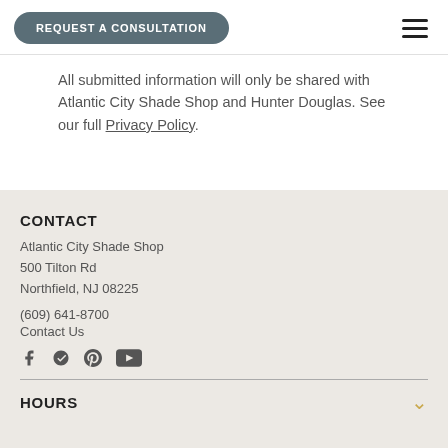REQUEST A CONSULTATION
All submitted information will only be shared with Atlantic City Shade Shop and Hunter Douglas. See our full Privacy Policy.
CONTACT
Atlantic City Shade Shop
500 Tilton Rd
Northfield, NJ 08225
(609) 641-8700
Contact Us
[Figure (other): Social media icons: Facebook, Yelp, Pinterest, YouTube]
HOURS